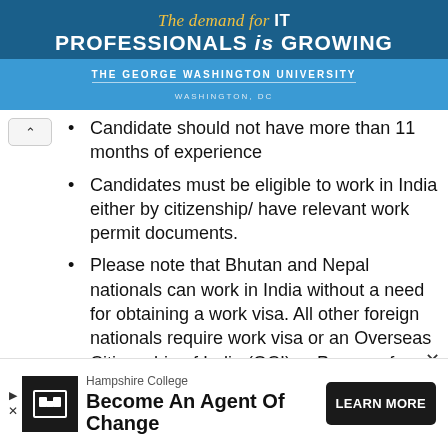[Figure (illustration): Advertisement banner for The George Washington University. Blue background with text 'The demand for IT PROFESSIONALS is GROWING' and university name/location.]
Candidate should not have more than 11 months of experience
Candidates must be eligible to work in India either by citizenship/ have relevant work permit documents.
Please note that Bhutan and Nepal nationals can work in India without a need for obtaining a work visa. All other foreign nationals require work visa or an Overseas Citizenship of India (OCI) or Person of
[Figure (illustration): Advertisement footer for Hampshire College. Shows logo, text 'Become An Agent Of Change' and a 'LEARN MORE' button.]